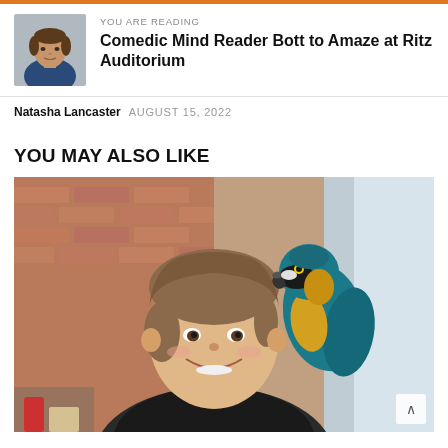YOU ARE READING
Comedic Mind Reader Bott to Amaze at Ritz Auditorium
Natasha Lancaster  AUGUST 15, 2022
YOU MAY ALSO LIKE
[Figure (photo): A smiling young woman with a blue and yellow macaw parrot perched on her shoulder, indoors with brick wall background]